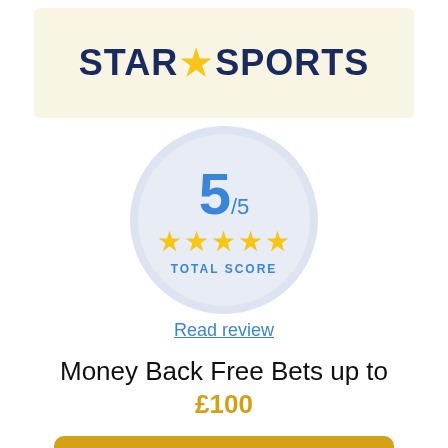[Figure (logo): Star Sports bookmaker logo — navy blue bold text reading STAR SPORTS with a gold star between the two words, on a cream/beige background]
[Figure (infographic): Rating circle showing 5/5 score with five gold stars and TOTAL SCORE label in blue, on a light blue-grey circular background]
Read review
Money Back Free Bets up to £100
Bet